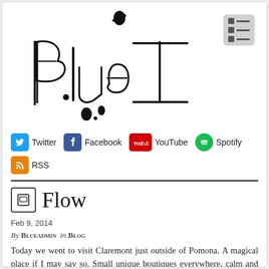[Figure (logo): Handwritten-style 'Blue I' logo in black ink on white background with ink splatter dots]
[Figure (illustration): Menu/grid icon button - gray rounded square with grid of squares and lines]
Twitter  Facebook  YouTube  Spotify  RSS
Flow
Feb 9, 2014
By Blueadmin in Blog
Today we went to visit Claremont just outside of Pomona. A magical place if I may say so. Small unique boutiques everywhere, calm and friendly atmosphere and inspiration to find in every corner. The local